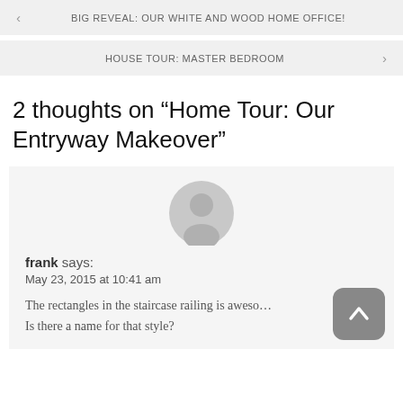< BIG REVEAL: OUR WHITE AND WOOD HOME OFFICE!
HOUSE TOUR: MASTER BEDROOM >
2 thoughts on “Home Tour: Our Entryway Makeover”
[Figure (illustration): Generic user avatar: grey circle with silhouette of a person]
frank says:
May 23, 2015 at 10:41 am

The rectangles in the staircase railing is awesome! Is there a name for that style?